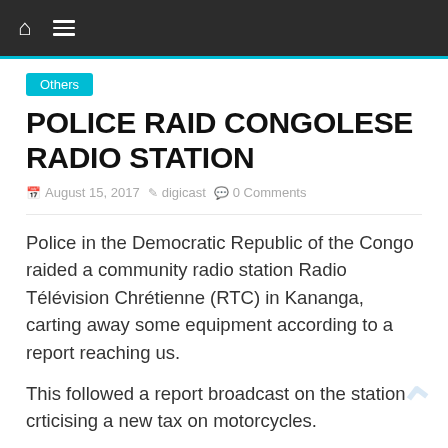Navigation bar with home and menu icons
Others
POLICE RAID CONGOLESE RADIO STATION
August 15, 2017  digicast  0 Comments
Police in the Democratic Republic of the Congo raided a community radio station Radio Télévision Chrétienne (RTC) in Kananga, carting away some equipment according to a report reaching us.
This followed a report broadcast on the station crticising a new tax on motorcycles.
RTC Director Sosphète Kambidi, said, the Mayor of Kananga, Jean Mwamba phoned him shortly after the broadcast the station to close the radio station